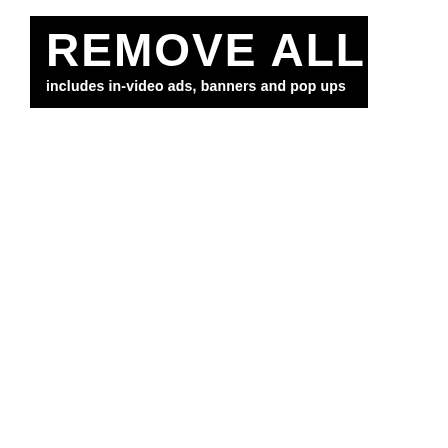[Figure (other): Black banner with bold white text reading 'REMOVE ALL ADS' and subtitle 'includes in-video ads, banners and pop ups']